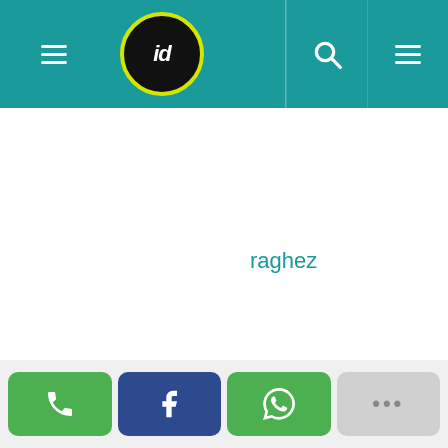[Figure (screenshot): Navigation bar with hamburger menu on left, circular logo with 'id' text in center-left area, teal background, search icon and hamburger menu on right side]
raghez
[Figure (screenshot): Bottom action bar with four buttons: green phone/call button, dark blue Facebook button, green WhatsApp button, and gray more options button with ellipsis]